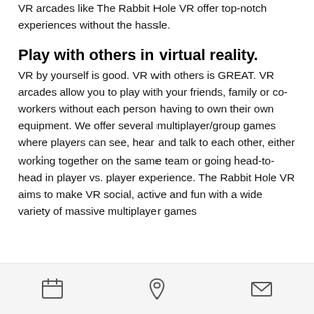VR arcades like The Rabbit Hole VR offer top-notch experiences without the hassle.
Play with others in virtual reality.
VR by yourself is good. VR with others is GREAT. VR arcades allow you to play with your friends, family or co-workers without each person having to own their own equipment. We offer several multiplayer/group games where players can see, hear and talk to each other, either working together on the same team or going head-to-head in player vs. player experience. The Rabbit Hole VR aims to make VR social, active and fun with a wide variety of massive multiplayer games
calendar | location | mail icons